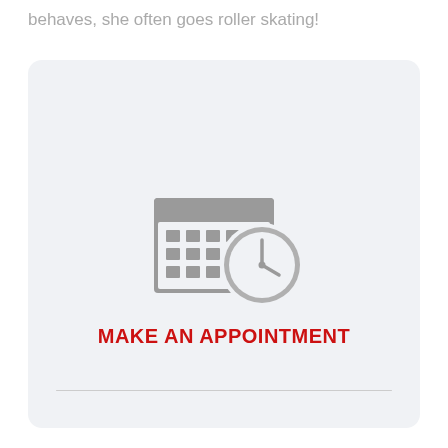behaves, she often goes roller skating!
[Figure (illustration): Calendar with clock icon (appointment/scheduling icon) in gray]
MAKE AN APPOINTMENT